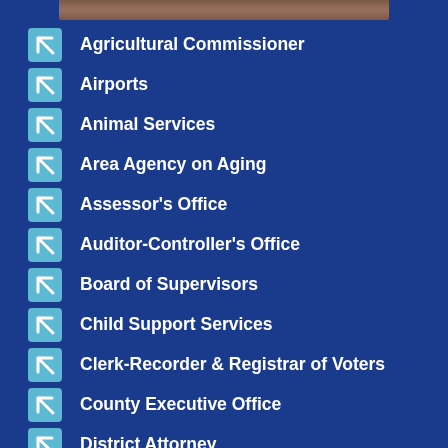[Figure (photo): Partial image of a wooden surface or table, cropped at the top of the page]
Agricultural Commissioner
Airports
Animal Services
Area Agency on Aging
Assessor's Office
Auditor-Controller's Office
Board of Supervisors
Child Support Services
Clerk-Recorder & Registrar of Voters
County Executive Office
District Attorney